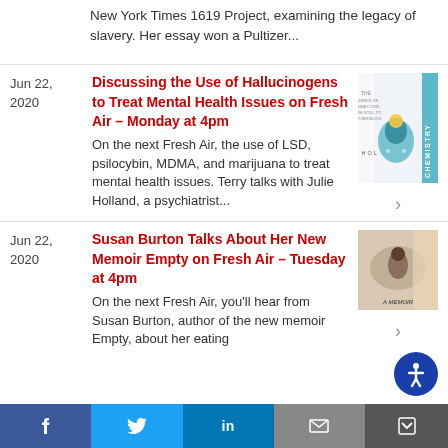New York Times 1619 Project, examining the legacy of slavery. Her essay won a Pultizer...
Jun 22, 2020
Discussing the Use of Hallucinogens to Treat Mental Health Issues on Fresh Air – Monday at 4pm
On the next Fresh Air, the use of LSD, psilocybin, MDMA, and marijuana to treat mental health issues. Terry talks with Julie Holland, a psychiatrist...
[Figure (photo): Book cover: The Science of Connection, From Soul to Psychedelics by Julie Holland, CHEMISTRY]
Jun 22, 2020
Susan Burton Talks About Her New Memoir Empty on Fresh Air – Tuesday at 4pm
On the next Fresh Air, you'll hear from Susan Burton, author of the new memoir Empty, about her eating
[Figure (photo): Book cover: A Memoir (Empty by Susan Burton), showing a person viewed from above in a bathtub]
f  t  in  [email]  [accessibility]